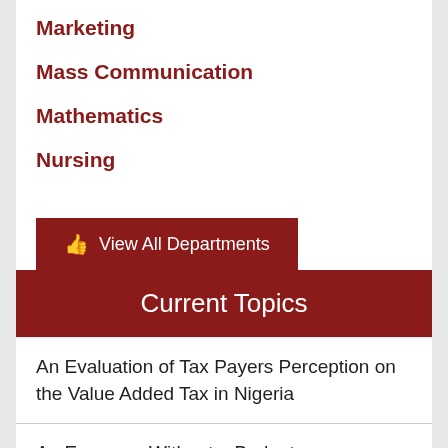Marketing
Mass Communication
Mathematics
Nursing
[Figure (other): Dark red button with thumbs-up icon and text: View All Departments]
Current Topics
An Evaluation of Tax Payers Perception on the Value Added Tax in Nigeria
An Economy Without a Budget